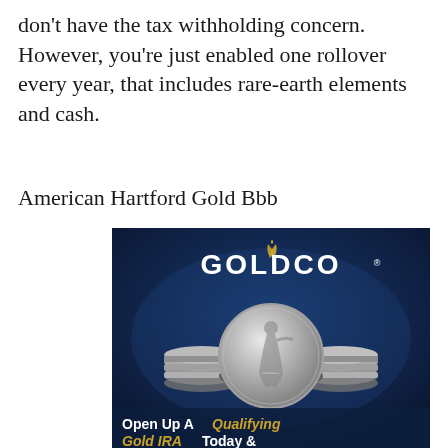don't have the tax withholding concern. However, you're just enabled one rollover every year, that includes rare-earth elements and cash.
American Hartford Gold Bbb
[Figure (illustration): Goldco advertisement showing a pile of silver coins (American Eagle coins) with the Goldco logo at the top and text 'Open Up A Qualifying Gold IRA Today &' at the bottom on a dark blue background.]